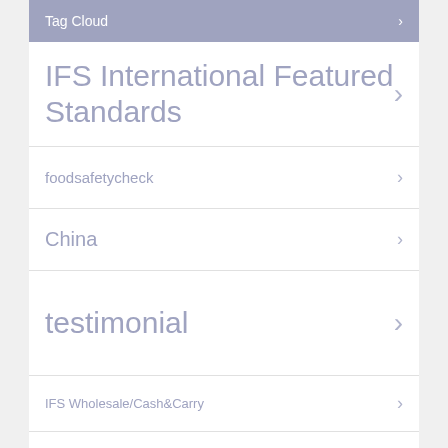Tag Cloud
IFS International Featured Standards
foodsafetycheck
China
testimonial
IFS Wholesale/Cash&Carry
Assessors
Food Fraud
IFS Logistics